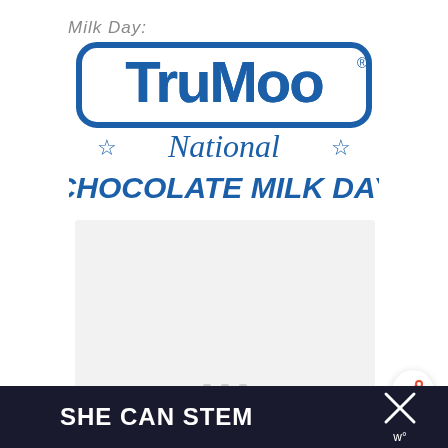Milk Day:
[Figure (logo): TruMoo National Chocolate Milk Day logo in blue and white with stars]
[Figure (other): Slideshow/carousel area with three navigation dots at the bottom]
SHE CAN STEM